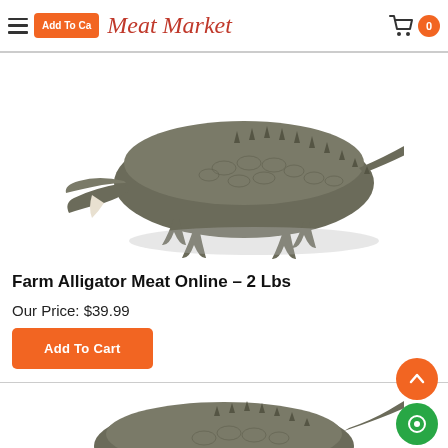Meat Market
[Figure (photo): A farm alligator photographed on white background, mouth open, viewed from above and side angle]
Farm Alligator Meat Online – 2 Lbs
Our Price: $39.99
Add To Cart
[Figure (photo): Partial view of another alligator product image, cut off at bottom of page]